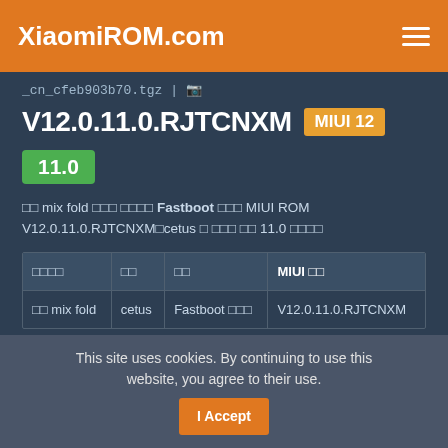XiaomiROM.com
_cn_cfeb903b70.tgz | 🔲
V12.0.11.0.RJTCNXM MIUI 12
11.0
🔲🔲 mix fold 🔲🔲🔲 🔲🔲🔲🔲 Fastboot 🔲🔲🔲 MIUI ROM V12.0.11.0.RJTCNXM🔲cetus 🔲 🔲🔲🔲 🔲🔲 11.0 🔲🔲🔲🔲
| 🔲🔲🔲🔲 | 🔲🔲 | 🔲🔲 | MIUI 🔲🔲 |
| --- | --- | --- | --- |
| 🔲🔲 mix fold | cetus | Fastboot 🔲🔲🔲 | V12.0.11.0.RJTCNXM |
This site uses cookies. By continuing to use this website, you agree to their use. I Accept